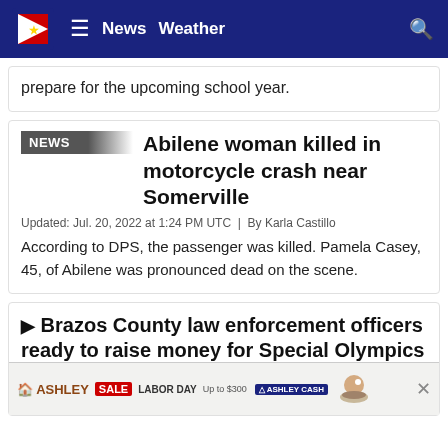News  Weather
prepare for the upcoming school year.
Abilene woman killed in motorcycle crash near Somerville
Updated: Jul. 20, 2022 at 1:24 PM UTC  |  By Karla Castillo
According to DPS, the passenger was killed. Pamela Casey, 45, of Abilene was pronounced dead on the scene.
Brazos County law enforcement officers ready to raise money for Special Olympics during next week's Tip-A-Cop
Updated: Jul. 18, 2022 at 1:25 PM UTC  |  By Karla C...